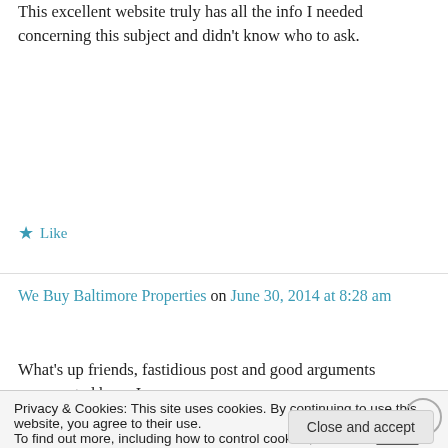This excellent website truly has all the info I needed concerning this subject and didn't know who to ask.
★ Like
We Buy Baltimore Properties on June 30, 2014 at 8:28 am
What's up friends, fastidious post and good arguments commented here, I am
Privacy & Cookies: This site uses cookies. By continuing to use this website, you agree to their use.
To find out more, including how to control cookies, see here: Cookie Policy
Close and accept